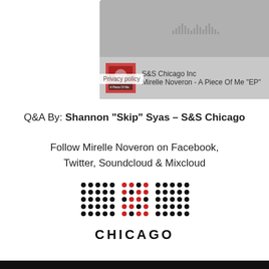[Figure (screenshot): SoundCloud embedded player widget showing S&S Chicago Inc and track Mirelle Noveron - A Piece Of Me EP with album art thumbnail and Privacy policy label]
Q&A By: Shannon “Skip” Syas – S&S Chicago
Follow Mirelle Noveron on Facebook, Twitter, Soundcloud & Mixcloud
[Figure (logo): S&S Chicago logo made of dot grid pattern with black and red dots spelling S and S above the word CHICAGO]